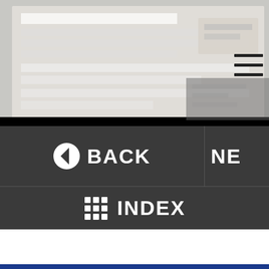[Figure (photo): Photograph showing electronics/tablet devices and control panels, partially visible, with dark overlay at bottom. A hamburger menu icon (three horizontal lines) is visible in the upper right area of the photo.]
BACK
NE(XT)